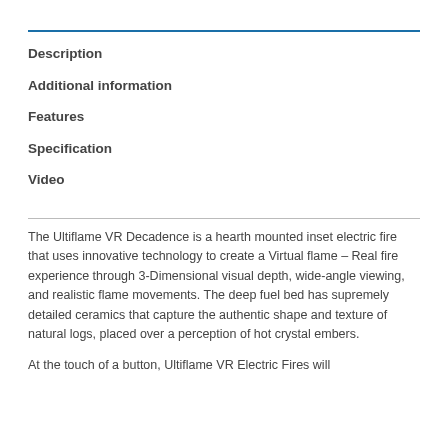Description
Additional information
Features
Specification
Video
The Ultiflame VR Decadence is a hearth mounted inset electric fire that uses innovative technology to create a Virtual flame – Real fire experience through 3-Dimensional visual depth, wide-angle viewing, and realistic flame movements. The deep fuel bed has supremely detailed ceramics that capture the authentic shape and texture of natural logs, placed over a perception of hot crystal embers.
At the touch of a button, Ultiflame VR Electric Fires will